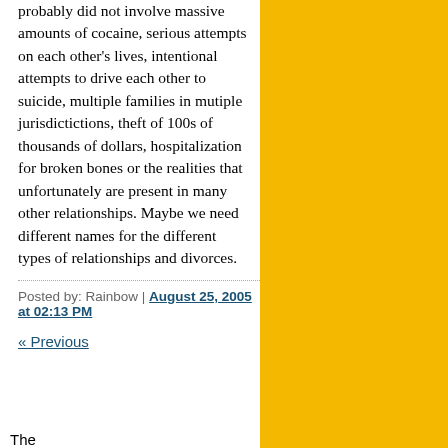probably did not involve massive amounts of cocaine, serious attempts on each other's lives, intentional attempts to drive each other to suicide, multiple families in mutiple jurisdictictions, theft of 100s of thousands of dollars, hospitalization for broken bones or the realities that unfortunately are present in many other relationships. Maybe we need different names for the different types of relationships and divorces.
Posted by: Rainbow | August 25, 2005 at 02:13 PM
« Previous
The